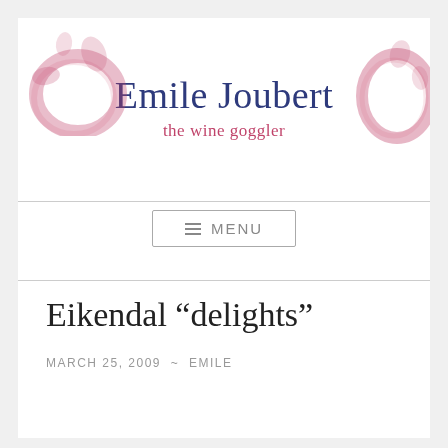[Figure (logo): Emile Joubert 'the wine goggler' blog header with wine stain ring decorations, site title in navy blue and subtitle in pink/red]
≡ MENU
Eikendal “delights”
MARCH 25, 2009 ~ EMILE